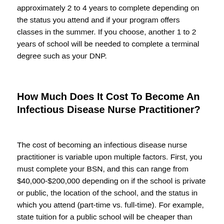approximately 2 to 4 years to complete depending on the status you attend and if your program offers classes in the summer. If you choose, another 1 to 2 years of school will be needed to complete a terminal degree such as your DNP.
How Much Does It Cost To Become An Infectious Disease Nurse Practitioner?
The cost of becoming an infectious disease nurse practitioner is variable upon multiple factors. First, you must complete your BSN, and this can range from $40,000-$200,000 depending on if the school is private or public, the location of the school, and the status in which you attend (part-time vs. full-time). For example, state tuition for a public school will be cheaper than paying for a private school or even out-of-state tuition for a public school. The cost of completing your BSN will be influenced by whether you first